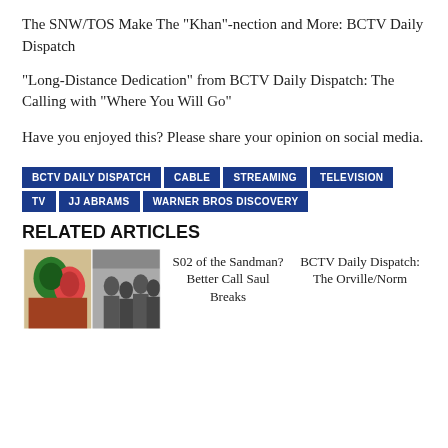The SNW/TOS Make The "Khan"-nection and More: BCTV Daily Dispatch
"Long-Distance Dedication" from BCTV Daily Dispatch: The Calling with "Where You Will Go"
Have you enjoyed this? Please share your opinion on social media.
BCTV DAILY DISPATCH | CABLE | STREAMING | TELEVISION | TV | JJ ABRAMS | WARNER BROS DISCOVERY
RELATED ARTICLES
[Figure (photo): Collage of two images: a colorful artistic/animated image on the left and a group of people photo on the right]
S02 of the Sandman? Better Call Saul Breaks
BCTV Daily Dispatch: The Orville/Norm